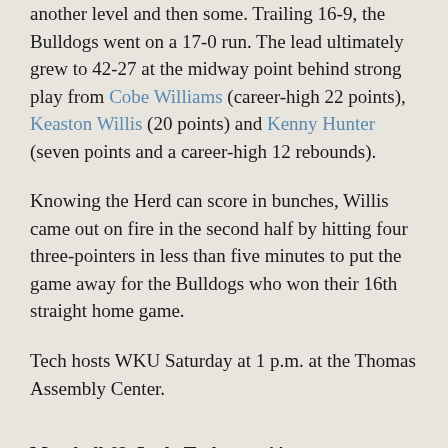another level and then some. Trailing 16-9, the Bulldogs went on a 17-0 run. The lead ultimately grew to 42-27 at the midway point behind strong play from Cobe Williams (career-high 22 points), Keaston Willis (20 points) and Kenny Hunter (seven points and a career-high 12 rebounds).
Knowing the Herd can score in bunches, Willis came out on fire in the second half by hitting four three-pointers in less than five minutes to put the game away for the Bulldogs who won their 16th straight home game.
Tech hosts WKU Saturday at 1 p.m. at the Thomas Assembly Center.
Marshall 62, Lady Techsters 44